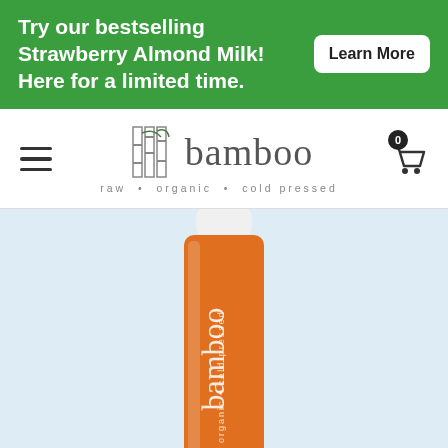Try our bestselling Strawberry Almond Milk! Here for a limited time. Learn More
[Figure (logo): Bamboo raw organic cold pressed brand logo with bamboo stalk icon]
[Figure (photo): Orange Bamboo raw organic cold pressed juice bottle with white cap on light blue background]